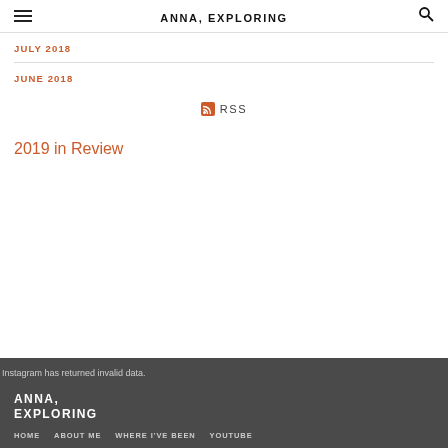ANNA, EXPLORING
JULY 2018
JUNE 2018
[Figure (other): RSS feed icon with RSS text link]
2019 in Review
Instagram has returned invalid data.
ANNA, EXPLORING
HOME  ABOUT ME  WHERE I'VE BEEN  YOUTUBE